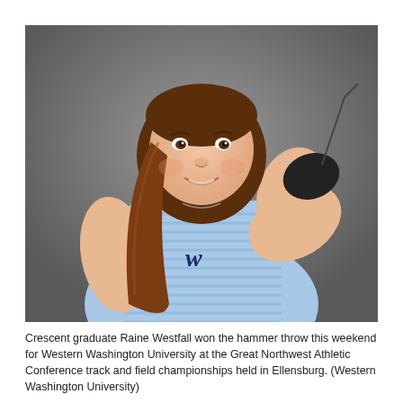[Figure (photo): A young woman (Raine Westfall) in a blue Western Washington University track uniform, smiling, holding a hammer throw implement behind her head against a gray studio background.]
Crescent graduate Raine Westfall won the hammer throw this weekend for Western Washington University at the Great Northwest Athletic Conference track and field championships held in Ellensburg. (Western Washington University)